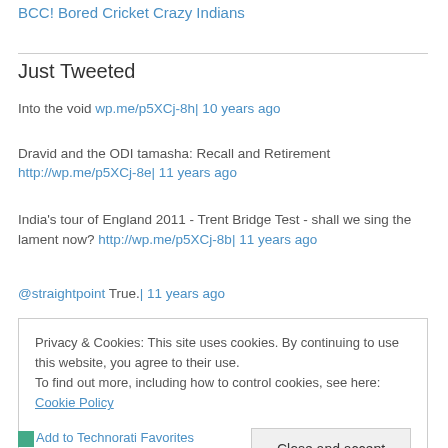BCC! Bored Cricket Crazy Indians
Just Tweeted
Into the void wp.me/p5XCj-8h| 10 years ago
Dravid and the ODI tamasha: Recall and Retirement http://wp.me/p5XCj-8e| 11 years ago
India's tour of England 2011 - Trent Bridge Test - shall we sing the lament now? http://wp.me/p5XCj-8b| 11 years ago
@straightpoint True.| 11 years ago
Privacy & Cookies: This site uses cookies. By continuing to use this website, you agree to their use. To find out more, including how to control cookies, see here: Cookie Policy
Add to Technorati Favorites